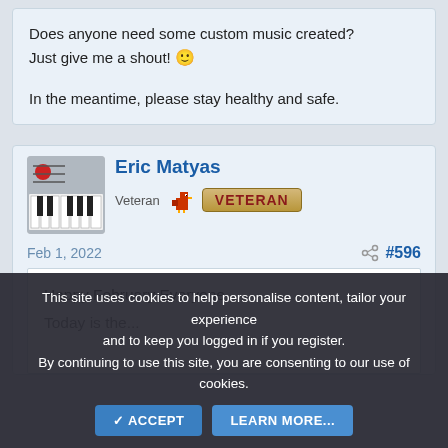Does anyone need some custom music created? Just give me a shout! 🙂

In the meantime, please stay healthy and safe.
Eric Matyas
Veteran
Feb 1, 2022
#596
Happy February Everyone,
Today is the ...
This site uses cookies to help personalise content, tailor your experience and to keep you logged in if you register. By continuing to use this site, you are consenting to our use of cookies.